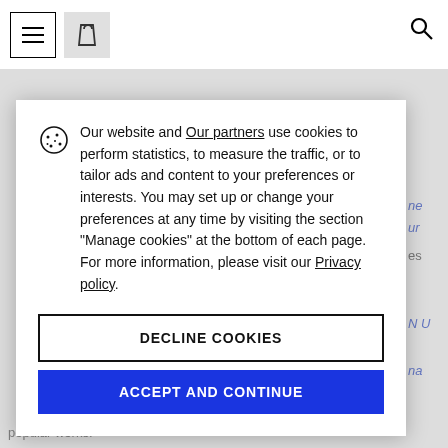Navigation bar with menu, bag, and search icons
Our website and Our partners use cookies to perform statistics, to measure the traffic, or to tailor ads and content to your preferences or interests. You may set up or change your preferences at any time by visiting the section "Manage cookies" at the bottom of each page. For more information, please visit our Privacy policy.
DECLINE COOKIES
ACCEPT AND CONTINUE